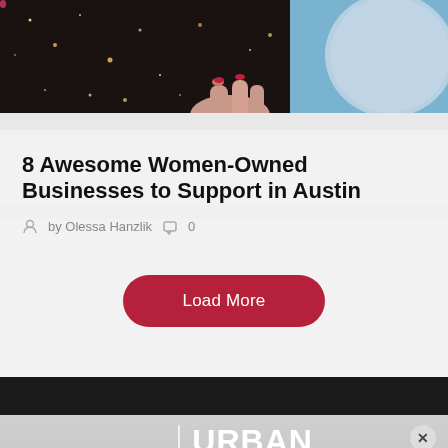[Figure (photo): Hero image showing a hand holding a glowing or starry object against a blue sky background]
8 Awesome Women-Owned Businesses to Support in Austin
by Olessa Hanzlik   0
Load More
[Figure (logo): Urban Matter logo with UM monogram and Urban Matter wordmark in white on gray banner, with tagline: Here at UrbanMatter, we pride]